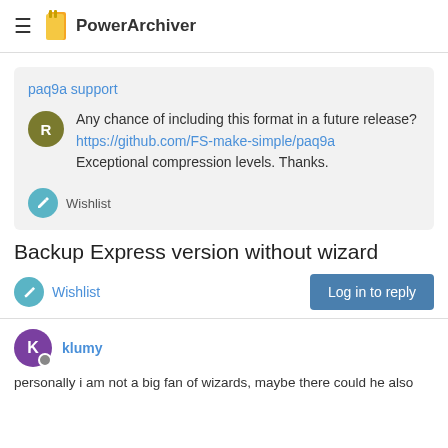PowerArchiver
paq9a support
Any chance of including this format in a future release? https://github.com/FS-make-simple/paq9a Exceptional compression levels. Thanks.
Wishlist
Backup Express version without wizard
Wishlist
klumy
personally i am not a big fan of wizards, maybe there could he also